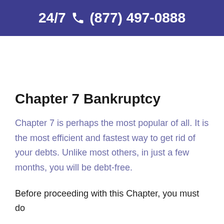24/7 (877) 497-0888
Chapter 7 Bankruptcy
Chapter 7 is perhaps the most popular of all. It is the most efficient and fastest way to get rid of your debts. Unlike most others, in just a few months, you will be debt-free.
Before proceeding with this Chapter, you must do